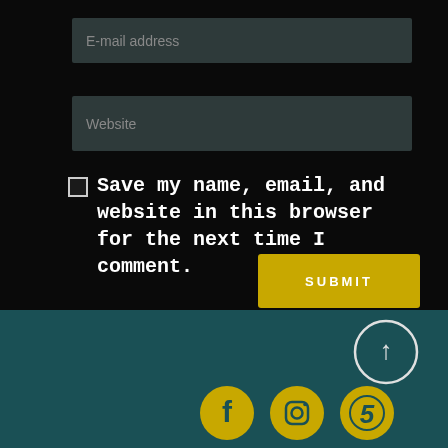E-mail address
Website
Save my name, email, and website in this browser for the next time I comment.
SUBMIT
[Figure (illustration): Back to top arrow circle button (white circle with upward arrow)]
[Figure (logo): Social media icons row: Facebook (f), Instagram (camera), and a number 5 icon, all in gold/yellow circles on teal background]